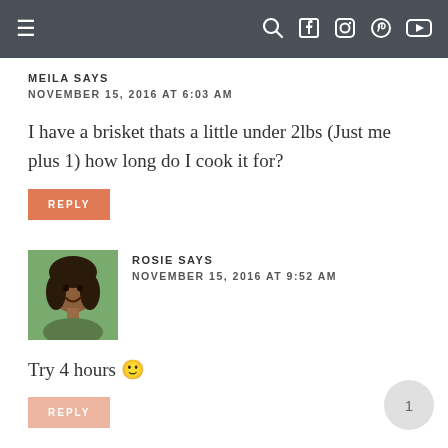Navigation bar with menu, search, facebook, instagram, pinterest, youtube icons
MEILA SAYS
NOVEMBER 15, 2016 AT 6:03 AM
I have a brisket thats a little under 2lbs (Just me plus 1) how long do I cook it for?
REPLY
[Figure (photo): Avatar photo of Rosie, a woman with curly dark hair, smiling outdoors]
ROSIE SAYS
NOVEMBER 15, 2016 AT 9:52 AM
Try 4 hours 🙂
REPLY